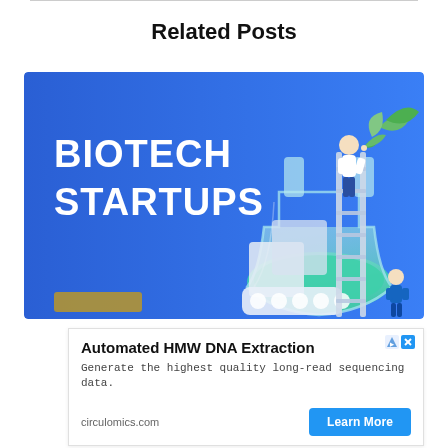Related Posts
[Figure (illustration): Blue banner image with bold white text 'BIOTECH STARTUPS' on the left, and on the right an illustration of a scientist figure on a ladder leaning against a large glass lab flask/beaker containing green liquid, surrounded by pills, leaves, and lab equipment on a blue gradient background. A gold/brown button label is visible at the bottom left.]
[Figure (other): Advertisement box: Title 'Automated HMW DNA Extraction', body text 'Generate the highest quality long-read sequencing data.', domain 'circulomics.com', and a blue 'Learn More' button. AdChoices and close icons at top right.]